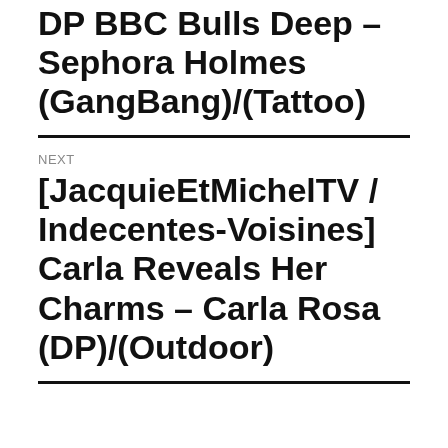DP BBC Bulls Deep – Sephora Holmes (GangBang)/(Tattoo)
NEXT
[JacquieEtMichelTV / Indecentes-Voisines] Carla Reveals Her Charms – Carla Rosa (DP)/(Outdoor)
PROMO
[Figure (logo): Keep2Share PREMIUM promotional banner with logo text on grey background]